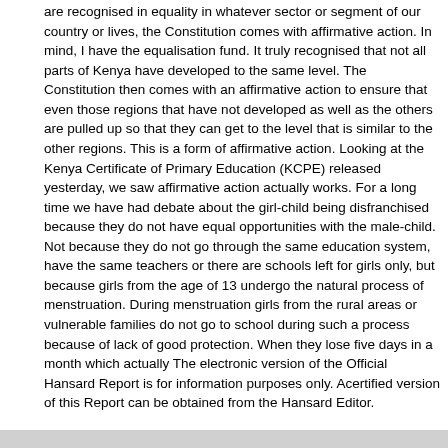are recognised in equality in whatever sector or segment of our country or lives, the Constitution comes with affirmative action. In mind, I have the equalisation fund. It truly recognised that not all parts of Kenya have developed to the same level. The Constitution then comes with an affirmative action to ensure that even those regions that have not developed as well as the others are pulled up so that they can get to the level that is similar to the other regions. This is a form of affirmative action. Looking at the Kenya Certificate of Primary Education (KCPE) released yesterday, we saw affirmative action actually works. For a long time we have had debate about the girl-child being disfranchised because they do not have equal opportunities with the male-child. Not because they do not go through the same education system, have the same teachers or there are schools left for girls only, but because girls from the age of 13 undergo the natural process of menstruation. During menstruation girls from the rural areas or vulnerable families do not go to school during such a process because of lack of good protection. When they lose five days in a month which actually The electronic version of the Official Hansard Report is for information purposes only. Acertified version of this Report can be obtained from the Hansard Editor.